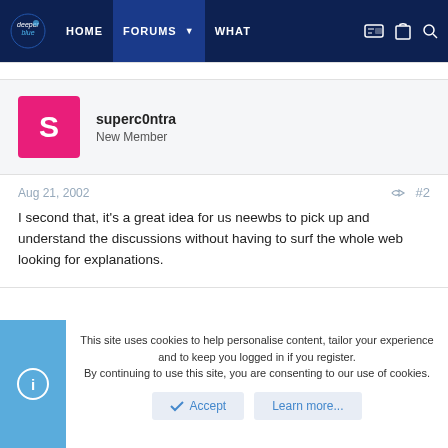DeeperBlue.com — HOME | FORUMS | WHAT
superc0ntra
New Member
Aug 21, 2002  #2
I second that, it's a great idea for us neewbs to pick up and understand the discussions without having to surf the whole web looking for explanations.
This site uses cookies to help personalise content, tailor your experience and to keep you logged in if you register.
By continuing to use this site, you are consenting to our use of cookies.
Accept   Learn more...